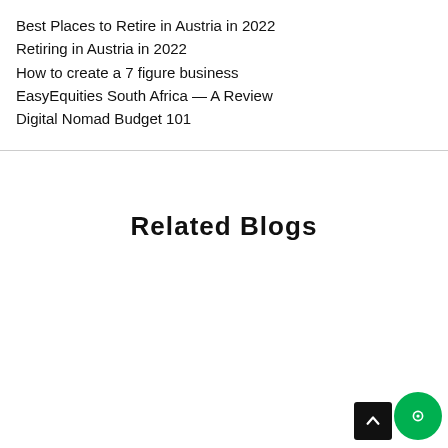Best Places to Retire in Austria in 2022
Retiring in Austria in 2022
How to create a 7 figure business
EasyEquities South Africa — A Review
Digital Nomad Budget 101
Related Blogs